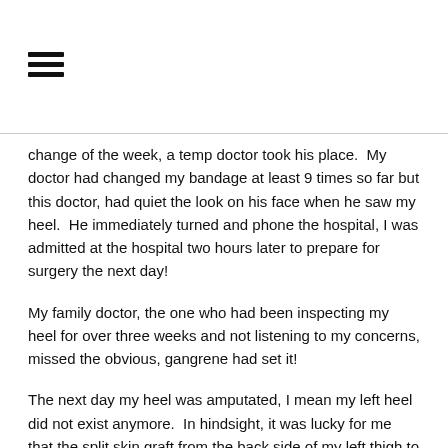[Figure (other): Hamburger menu icon with three horizontal lines]
change of the week, a temp doctor took his place.  My doctor had changed my bandage at least 9 times so far but this doctor, had quiet the look on his face when he saw my heel.  He immediately turned and phone the hospital, I was admitted at the hospital two hours later to prepare for surgery the next day!
My family doctor, the one who had been inspecting my heel for over three weeks and not listening to my concerns, missed the obvious, gangrene had set it!
The next day my heel was amputated, I mean my left heel did not exist anymore.  In hindsight, it was lucky for me that the split skin graft from the back side of my left thigh to cover the missing heel area the doctors originally placed didn't take.  I was off to Vancouver a month later for what was considered radical surgery for that time period.
I say lucky, because the split skin graph had 6 mm of skin from my back thigh to cover my heel which had 5 mm of skin thickness however,